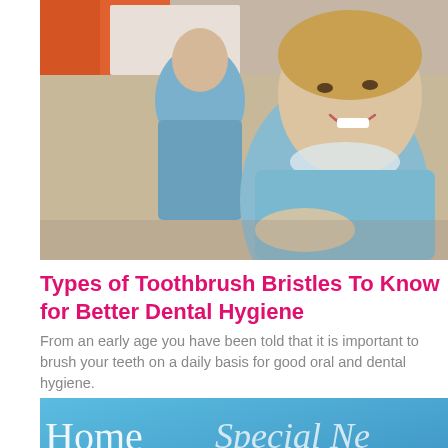[Figure (photo): Two dental professionals in blue scrubs smiling in a dental office setting with orange cabinets in background]
Types of Toothbrush Bristles To Know for Better Dental Hygiene
From an early age you have been told that it is important to brush your teeth on a daily basis for good oral and dental hygiene.
Read More »
[Figure (photo): Blue background with text reading 'Home Special Ne' and 'Elder Law' in large serif fonts]